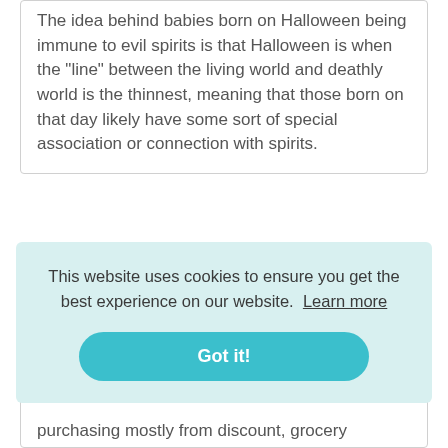The idea behind babies born on Halloween being immune to evil spirits is that Halloween is when the "line" between the living world and deathly world is the thinnest, meaning that those born on that day likely have some sort of special association or connection with spirits.
How much do you spend on
This website uses cookies to ensure you get the best experience on our website.  Learn more
Got it!
purchasing mostly from discount, grocery